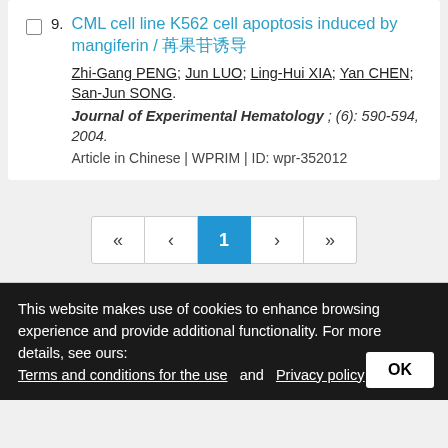9. CML cell line K562 cell apoptosis induced by mangiferin / 芒果苷诱导 Zhi-Gang PENG; Jun LUO; Ling-Hui XIA; Yan CHEN; San-Jun SONG. Journal of Experimental Hematology ; (6): 590-594, 2004. Article in Chinese | WPRIM | ID: wpr-352012
« < 1 > »
This website makes use of cookies to enhance browsing experience and provide additional functionality. For more details, see ours: Terms and conditions for the use and Privacy policy OK